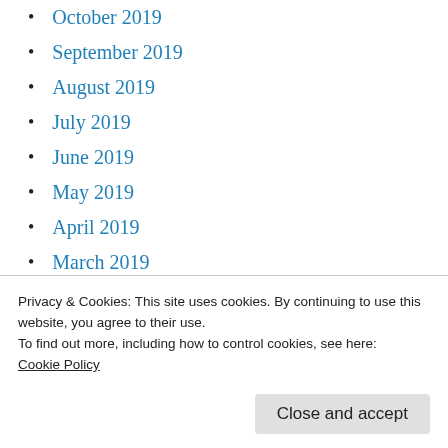October 2019
September 2019
August 2019
July 2019
June 2019
May 2019
April 2019
March 2019
February 2019
January 2019
December 2018
Privacy & Cookies: This site uses cookies. By continuing to use this website, you agree to their use.
To find out more, including how to control cookies, see here:
Cookie Policy
July 2018